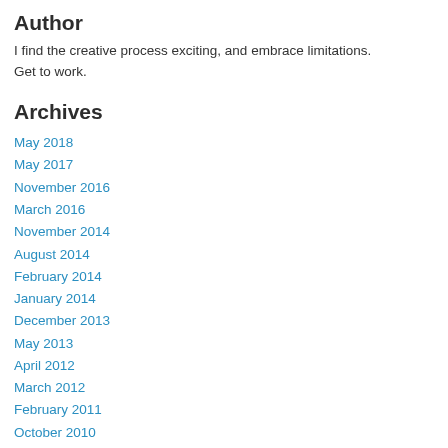Author
I find the creative process exciting, and embrace limitations.
Get to work.
Archives
May 2018
May 2017
November 2016
March 2016
November 2014
August 2014
February 2014
January 2014
December 2013
May 2013
April 2012
March 2012
February 2011
October 2010
September 2010
April 2010